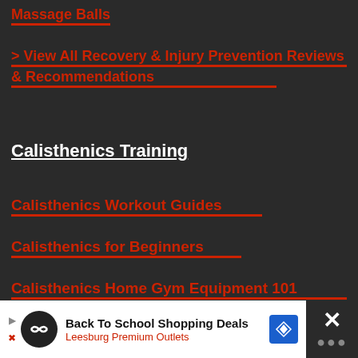Massage Balls
> View All Recovery & Injury Prevention Reviews & Recommendations
Calisthenics Training
Calisthenics Workout Guides
Calisthenics for Beginners
Calisthenics Home Gym Equipment 101
Best Calisthenics Gear & Equipment
Pushup Bars
[Figure (screenshot): Advertisement banner for Back To School Shopping Deals at Leesburg Premium Outlets with navigation arrows and close button]